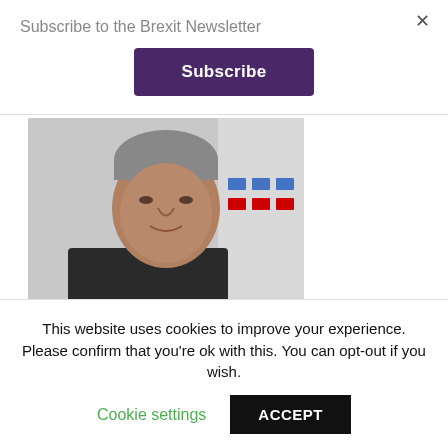Subscribe to the Brexit Newsletter
Subscribe
[Figure (photo): Headshot of a middle-aged man with grey hair wearing a dark suit, photographed against a blurred background with logos]
Daniel Ball of Wax Digital says supply chains must prepare for the worst
November 18, 2019
This website uses cookies to improve your experience. Please confirm that you're ok with this. You can opt-out if you wish.
Cookie settings
ACCEPT